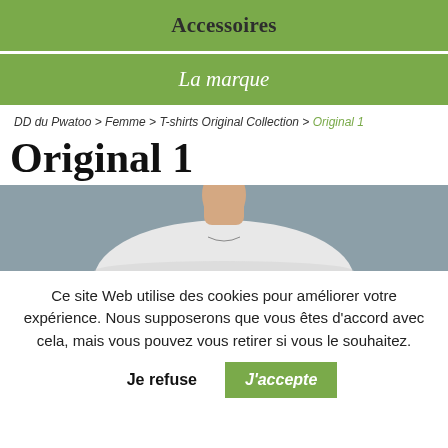Accessoires
La marque
DD du Pwatoo > Femme > T-shirts Original Collection > Original 1
Original 1
[Figure (photo): Product photo of a woman wearing a white t-shirt, cropped at neck/shoulders, gray background]
Ce site Web utilise des cookies pour améliorer votre expérience. Nous supposerons que vous êtes d'accord avec cela, mais vous pouvez vous retirer si vous le souhaitez.
Je refuse  J'accepte